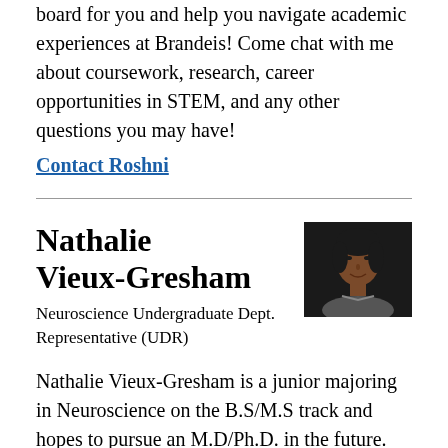board for you and help you navigate academic experiences at Brandeis! Come chat with me about coursework, research, career opportunities in STEM, and any other questions you may have!
Contact Roshni
Nathalie Vieux-Gresham
Neuroscience Undergraduate Dept. Representative (UDR)
[Figure (photo): Headshot photo of Nathalie Vieux-Gresham]
Nathalie Vieux-Gresham is a junior majoring in Neuroscience on the B.S/M.S track and hopes to pursue an M.D/Ph.D. in the future. Something she absolutely loves about neuroscience is how multifaceted and diverse neuroscience is pertaining to the way we can